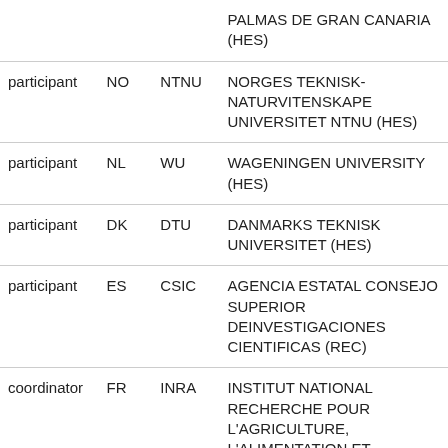| Role | Country | Short | Full Name |
| --- | --- | --- | --- |
|  |  |  | PALMAS DE GRAN CANARIA (HES) |
| participant | NO | NTNU | NORGES TEKNISK-NATURVITENSKAPE UNIVERSITET NTNU (HES) |
| participant | NL | WU | WAGENINGEN UNIVERSITY (HES) |
| participant | DK | DTU | DANMARKS TEKNISK UNIVERSITET (HES) |
| participant | ES | CSIC | AGENCIA ESTATAL CONSEJO SUPERIOR DEINVESTIGACIONES CIENTIFICAS (REC) |
| coordinator | FR | INRA | INSTITUT NATIONAL RECHERCHE POUR L'AGRICULTURE, L'ALIMENTATION ET |